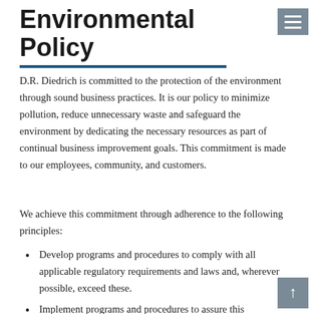Environmental Policy
D.R. Diedrich is committed to the protection of the environment through sound business practices. It is our policy to minimize pollution, reduce unnecessary waste and safeguard the environment by dedicating the necessary resources as part of continual business improvement goals. This commitment is made to our employees, community, and customers.
We achieve this commitment through adherence to the following principles:
Develop programs and procedures to comply with all applicable regulatory requirements and laws and, wherever possible, exceed these.
Implement programs and procedures to assure this